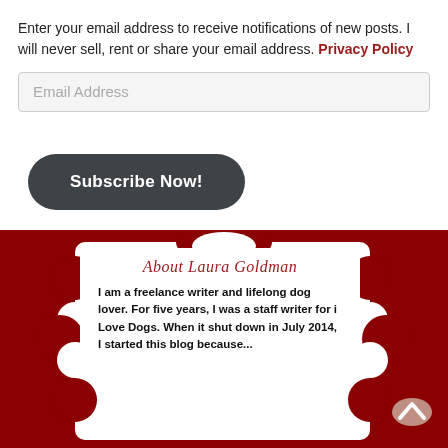Enter your email address to receive notifications of new posts. I will never sell, rent or share your email address. Privacy Policy
Email Address
Subscribe Now!
[Figure (illustration): Decorative dark red ornamental frame with white interior containing About Laura Goldman section]
About Laura Goldman
I am a freelance writer and lifelong dog lover. For five years, I was a staff writer for i Love Dogs. When it shut down in July 2014, I started this blog because...